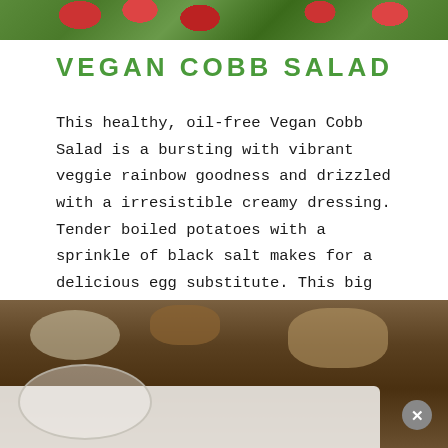[Figure (photo): Top portion of a food photo showing red tomatoes and green leafy vegetables on a dark background]
VEGAN COBB SALAD
This healthy, oil-free Vegan Cobb Salad is a bursting with vibrant veggie rainbow goodness and drizzled with a irresistible creamy dressing. Tender boiled potatoes with a sprinkle of black salt makes for a delicious egg substitute. This big salad makes for a fresh and wholesome meal for lunch or dinner. The dressing alone will make your taste buds come alive with the first bite. You'll be wondering where the salad has been all your life!
[Figure (photo): Bottom portion showing a bowl of Vegan Cobb Salad with creamy dressing being drizzled, with advertisement overlay and close button]